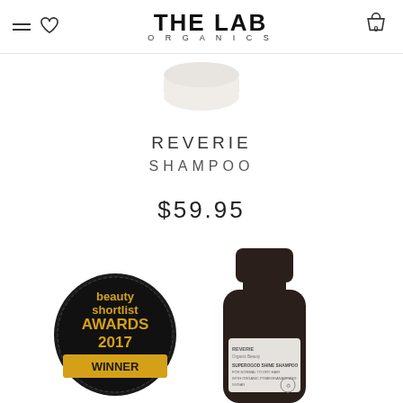THE LAB ORGANICS
[Figure (photo): Top portion of a white cream/product jar lid visible at top center of page]
REVERIE
SHAMPOO
$59.95
[Figure (photo): Beauty Shortlist Awards 2017 Winner badge (circular black badge with gold text) next to a dark brown/black bottle of Reverie Organic Beauty superogod shine shampoo for normal to dry hair with organic pomegranate and sugar]